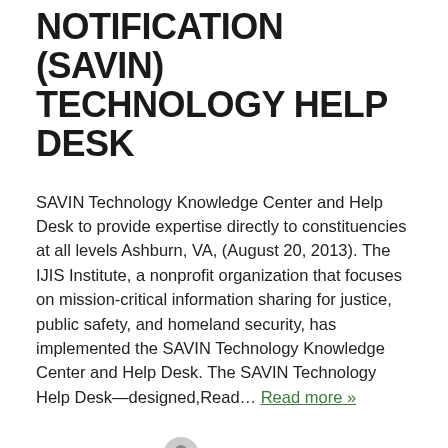NOTIFICATION (SAVIN) TECHNOLOGY HELP DESK
SAVIN Technology Knowledge Center and Help Desk to provide expertise directly to constituencies at all levels Ashburn, VA, (August 20, 2013). The IJIS Institute, a nonprofit organization that focuses on mission-critical information sharing for justice, public safety, and homeland security, has implemented the SAVIN Technology Knowledge Center and Help Desk. The SAVIN Technology Help Desk—designed,Read… Read more »
August 20, 2013   Chelsea Cooper
Leave a comment